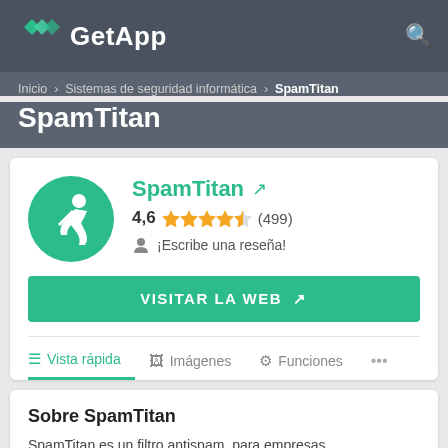GetApp
Inicio › Sistemas de seguridad informática › SpamTitan
SpamTitan
SpamTitan ↗
4,6 ★★★★½ (499)
¡Escribe una reseña!
VISITAR LA WEB ↗
Vista rápida  Imágenes  Funciones
Sobre SpamTitan
SpamTitan es un filtro antispam, para empresas,